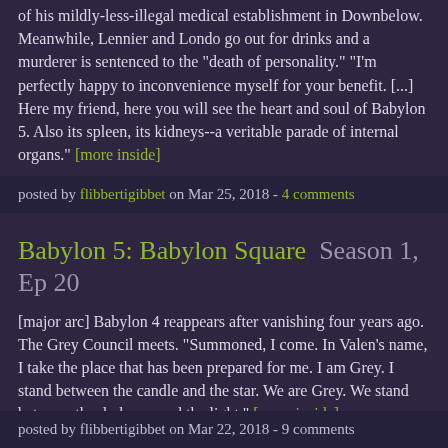of his mildly-less-illegal medical establishment in Downbelow. Meanwhile, Lennier and Londo go out for drinks and a murderer is sentenced to the "death of personality." "I'm perfectly happy to inconvenience myself for your benefit. [...] Here my friend, here you will see the heart and soul of Babylon 5. Also its spleen, its kidneys--a veritable parade of internal organs." [more inside]
posted by flibbertigibbet on Mar 25, 2018 - 4 comments
Babylon 5: Babylon Square  Season 1, Ep 20
[major arc] Babylon 4 reappears after vanishing four years ago. The Grey Council meets. "Summoned, I come. In Valen's name, I take the place that has been prepared for me. I am Grey. I stand between the candle and the star. We are Grey. We stand between the darkness and the light." [more inside]
posted by flibbertigibbet on Mar 22, 2018 - 9 comments